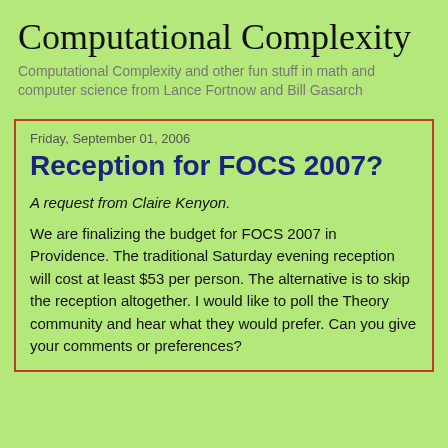Computational Complexity
Computational Complexity and other fun stuff in math and computer science from Lance Fortnow and Bill Gasarch
Friday, September 01, 2006
Reception for FOCS 2007?
A request from Claire Kenyon.
We are finalizing the budget for FOCS 2007 in Providence. The traditional Saturday evening reception will cost at least $53 per person. The alternative is to skip the reception altogether. I would like to poll the Theory community and hear what they would prefer. Can you give your comments or preferences?